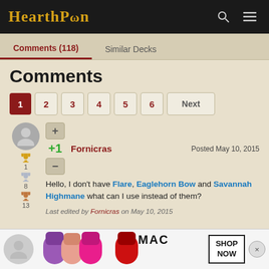HearthPwn
Comments (118)  Similar Decks
Comments
Pagination: 1 2 3 4 5 6 Next
Fornicras  Posted May 10, 2015
+1
Hello, I don't have Flare, Eaglehorn Bow and Savannah Highmane what can I use instead of them?
Last edited by Fornicras on May 10, 2015
[Figure (photo): MAC lipstick advertisement banner at bottom of page]
SHOP NOW